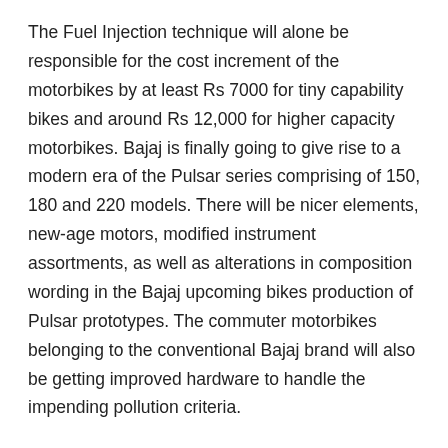The Fuel Injection technique will alone be responsible for the cost increment of the motorbikes by at least Rs 7000 for tiny capability bikes and around Rs 12,000 for higher capacity motorbikes. Bajaj is finally going to give rise to a modern era of the Pulsar series comprising of 150, 180 and 220 models. There will be nicer elements, new-age motors, modified instrument assortments, as well as alterations in composition wording in the Bajaj upcoming bikes production of Pulsar prototypes. The commuter motorbikes belonging to the conventional Bajaj brand will also be getting improved hardware to handle the impending pollution criteria.
5. Pulsar 150
A test doppelganger of the upcoming 2022 Bajaj Pulsar 150 was introduced for sampling formerly in Pune. Even